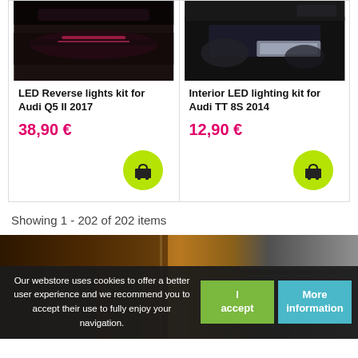[Figure (photo): Dark photo of car LED reverse light on Audi Q5]
LED Reverse lights kit for Audi Q5 II 2017
38,90 €
[Figure (photo): Dark photo of car interior LED lighting on Audi TT 8S]
Interior LED lighting kit for Audi TT 8S 2014
12,90 €
Showing 1 - 202 of 202 items
[Figure (photo): Partial image of amber/brown car interior with door detail]
Our webstore uses cookies to offer a better user experience and we recommend you to accept their use to fully enjoy your navigation.